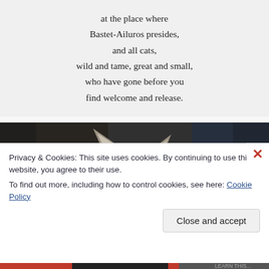at the place where
Bastet-Ailuros presides,
and all cats,
wild and tame, great and small,
who have gone before you
find welcome and release.
[Figure (photo): Close-up photo of a cat's head from behind, showing ears and the top of its head against a dark blurred background.]
Privacy & Cookies: This site uses cookies. By continuing to use this website, you agree to their use.
To find out more, including how to control cookies, see here: Cookie Policy
Close and accept
LEARN THIS...